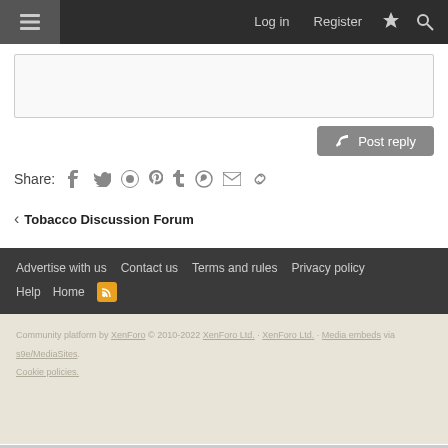Log in  Register
[Figure (screenshot): Text area reply box with Post reply button]
Share: Facebook Twitter Reddit Pinterest Tumblr WhatsApp Email Link
< Tobacco Discussion Forum
Advertise with us  Contact us  Terms and rules  Privacy policy  Help  Home  RSS
Community platform by XenForo © 2010-2022 XenForo Ltd. Media embeds via s9e/MediaSites. Cookie policies.